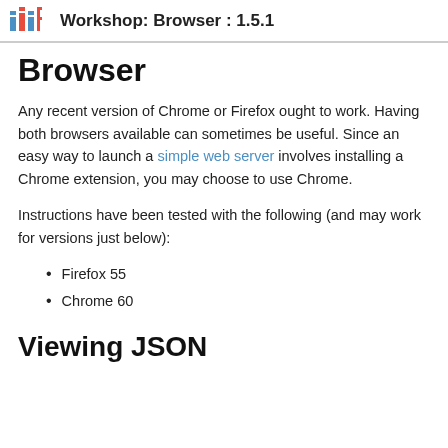Workshop: Browser : 1.5.1
Browser
Any recent version of Chrome or Firefox ought to work. Having both browsers available can sometimes be useful. Since an easy way to launch a simple web server involves installing a Chrome extension, you may choose to use Chrome.
Instructions have been tested with the following (and may work for versions just below):
Firefox 55
Chrome 60
Viewing JSON